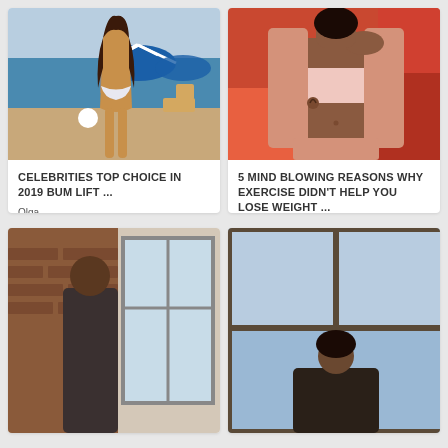[Figure (photo): Woman in white bikini from behind at a beach with blue and white striped umbrellas and chairs]
CELEBRITIES TOP CHOICE IN 2019 BUM LIFT ...
Olga
Aug 07
[Figure (photo): Woman in pink outfit showing her midriff against a red/orange background]
5 MIND BLOWING REASONS WHY EXERCISE DIDN'T HELP YOU LOSE WEIGHT ...
Robin
Jan 28
[Figure (photo): Person near brick wall with large windows, partial view]
[Figure (photo): Person near window with sky visible, partial view]